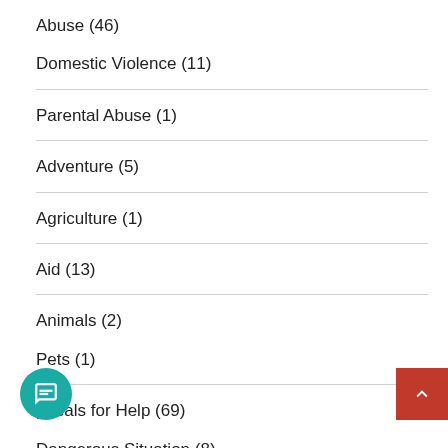Abuse (46)
Domestic Violence (11)
Parental Abuse (1)
Adventure (5)
Agriculture (1)
Aid (13)
Animals (2)
Pets (1)
Appeals for Help (69)
Dangerous Situation (8)